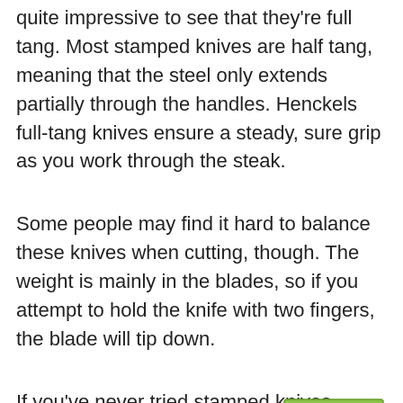quite impressive to see that they're full tang. Most stamped knives are half tang, meaning that the steel only extends partially through the handles. Henckels full-tang knives ensure a steady, sure grip as you work through the steak.
Some people may find it hard to balance these knives when cutting, though. The weight is mainly in the blades, so if you attempt to hold the knife with two fingers, the blade will tip down.
If you've never tried stamped knives before, the knives in this set may not be the ones. Of
[Figure (illustration): A green upload/submit arrow icon with a horizontal bar on top, pointing upward.]